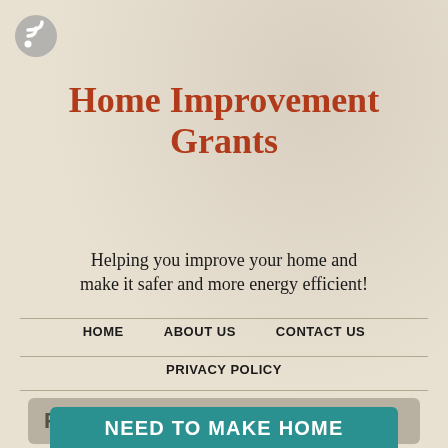[Figure (logo): RSS feed icon — grey circle with white wifi/RSS symbol]
Home Improvement Grants
Helping you improve your home and make it safer and more energy efficient!
HOME     ABOUT US     CONTACT US
PRIVACY POLICY
POSTS TAGGED ‘LESS LIKELY’
NEED TO MAKE HOME